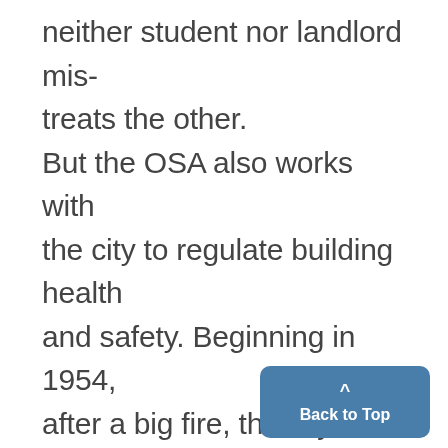neither student nor landlord mistreats the other. But the OSA also works with the city to regulate building health and safety. Beginning in 1954, after a big fire, the city started certification of apartments. The city enforces the Michigan housing code, although few other cities do. At city expense, all copies of certification and inspection are sent to the University. At the request of the OSA, the city will investigate any designa...